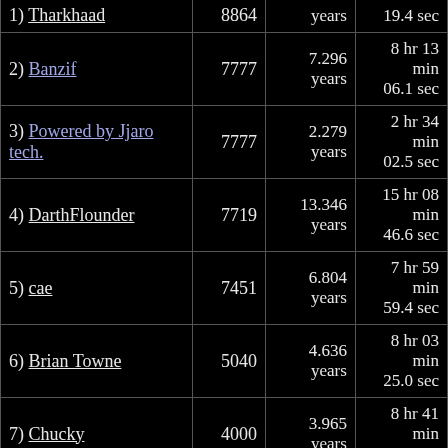| Rank/Name | Score | Years | Time |
| --- | --- | --- | --- |
| 1) Tharkhaad | 8864 | years | 19.4 sec |
| 2) Banzif | 7777 | 7.296 years | 8 hr 13 min 06.1 sec |
| 3) Powered by Jjaro tech. | 7777 | 2.279 years | 2 hr 34 min 02.5 sec |
| 4) DarthFlounder | 7719 | 13.346 years | 15 hr 08 min 46.6 sec |
| 5) cae | 7451 | 6.804 years | 7 hr 59 min 59.4 sec |
| 6) Brian Towne | 5040 | 4.636 years | 8 hr 03 min 25.0 sec |
| 7) Chucky | 4000 | 3.965 years | 8 hr 41 min 02.5 sec |
| 8) mliebhold | 3376 | 5.090 years | 13 hr 12 min 27.4 sec |
| 9) Meebo | 3331 | 3.776 years | 9 hr 55 min 46.0 sec |
| 10) Mikeintosh | 3264 | 8.629 years | 23 hr 09 min 30.9 sec |
| 11) Alxnet | 3185 | 3.552 years | 9 hr 46 min 11.7 sec |